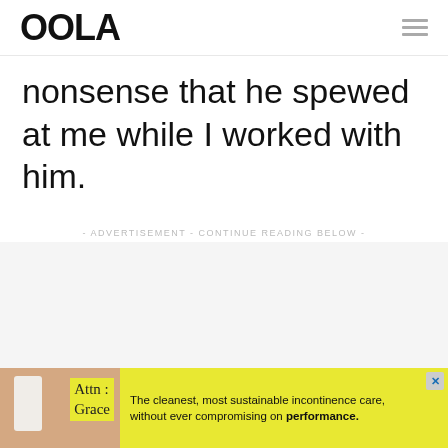OOLA
nonsense that he spewed at me while I worked with him.
- ADVERTISEMENT - CONTINUE READING BELOW -
[Figure (other): Gray advertisement placeholder area]
[Figure (other): Advertisement banner: Attn Grace incontinence care product ad. Text: The cleanest, most sustainable incontinence care, without ever compromising on performance.]